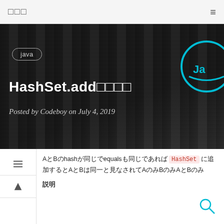□□□ ≡
[Figure (screenshot): Dark wood-textured hero banner with 'java' tag badge, Java logo circle on the right, bold white title 'HashSet.add□□□□', and italic subtitle 'Posted by Codeboy on July 4, 2019']
AとBのhashが同じでequalsも同じであれば HashSet に追加するとAとBは同一と見なされてAのみBのみAとBのみ
説明